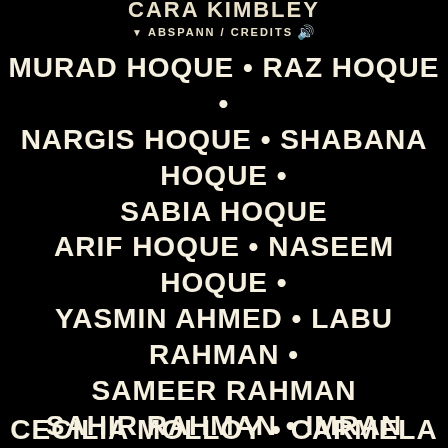CARA KIMBLEY
▼ ABSPANN / CREDITS 🔊
MURAD HOQUE • RAZ HOQUE • NARGIS HOQUE • SHABANA HOQUE • SABIA HOQUE ARIF HOQUE • NASEEM HOQUE • YASMIN AHMED • LABU RAHMAN • SAMEER RAHMAN SAHIR RAHMAN • IMRAN RAHMAN • ISHA HOQUE
CECILIA MOLLOY • CARMELA